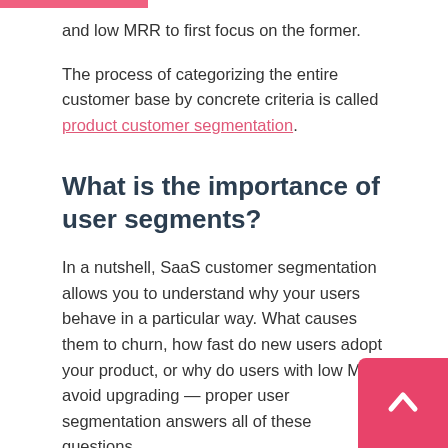and low MRR to first focus on the former.
The process of categorizing the entire customer base by concrete criteria is called product customer segmentation.
What is the importance of user segments?
In a nutshell, SaaS customer segmentation allows you to understand why your users behave in a particular way. What causes them to churn, how fast do new users adopt your product, or why do users with low MRR avoid upgrading — proper user segmentation answers all of these questions.